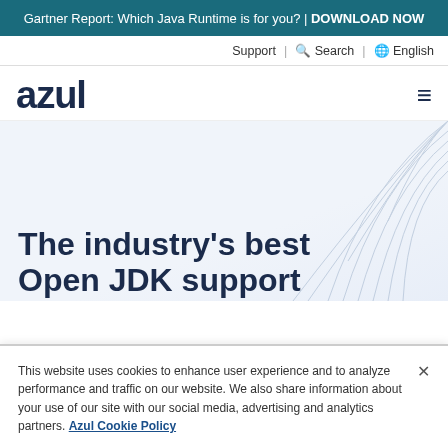Gartner Report: Which Java Runtime is for you? | DOWNLOAD NOW
Support | Search | English
[Figure (logo): Azul company logo — bold sans-serif text reading 'azul' in dark navy]
The industry's best Open JDK support
This website uses cookies to enhance user experience and to analyze performance and traffic on our website. We also share information about your use of our site with our social media, advertising and analytics partners. Azul Cookie Policy